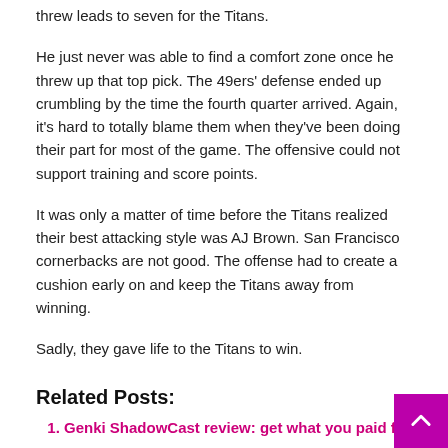threw leads to seven for the Titans.
He just never was able to find a comfort zone once he threw up that top pick. The 49ers' defense ended up crumbling by the time the fourth quarter arrived. Again, it's hard to totally blame them when they've been doing their part for most of the game. The offensive could not support training and score points.
It was only a matter of time before the Titans realized their best attacking style was AJ Brown. San Francisco cornerbacks are not good. The offense had to create a cushion early on and keep the Titans away from winning.
Sadly, they gave life to the Titans to win.
Related Posts:
Genki ShadowCast review: get what you paid for
Explained: Why Ronaldo-Fernandes combination is Portugal's best bet against Belgium today